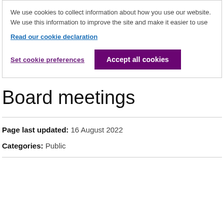We use cookies to collect information about how you use our website. We use this information to improve the site and make it easier to use
Read our cookie declaration
Set cookie preferences
Accept all cookies
Board meetings
Page last updated: 16 August 2022
Categories: Public